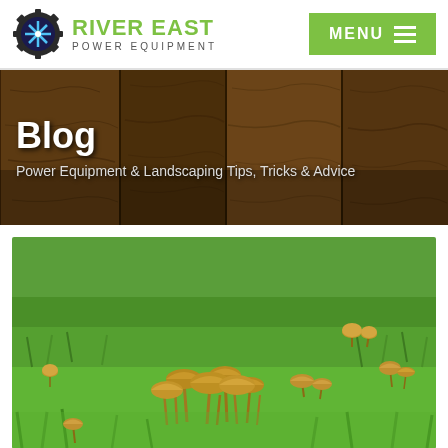RIVER EAST POWER EQUIPMENT — MENU
Blog
Power Equipment & Landscaping Tips, Tricks & Advice
[Figure (photo): Close-up photo of clusters of small brown mushrooms growing in bright green grass, with more scattered mushrooms visible across the lawn in the background]